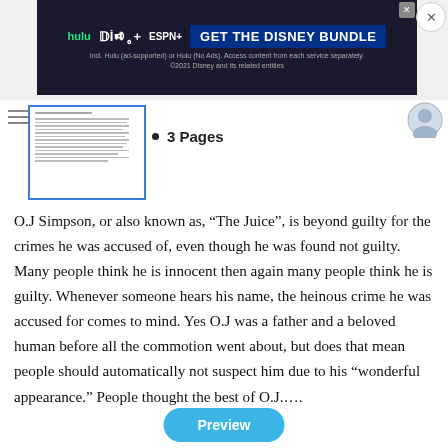[Figure (screenshot): Disney Bundle advertisement banner with Hulu, Disney+, ESPN+ logos and 'GET THE DISNEY BUNDLE' call to action]
[Figure (screenshot): Thumbnail preview of a document page showing text lines]
3 Pages
O.J Simpson, or also known as, “The Juice”, is beyond guilty for the crimes he was accused of, even though he was found not guilty. Many people think he is innocent then again many people think he is guilty. Whenever someone hears his name, the heinous crime he was accused for comes to mind. Yes O.J was a father and a beloved human before all the commotion went about, but does that mean people should automatically not suspect him due to his “wonderful appearance.” People thought the best of O.J....
Preview